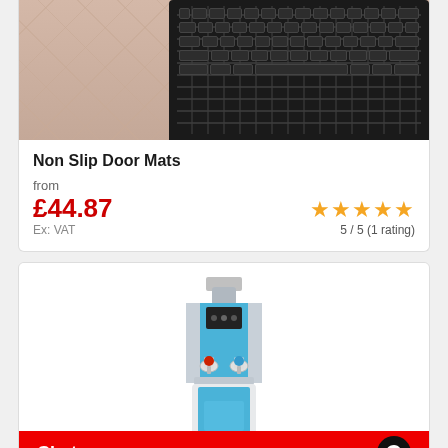[Figure (photo): Product photo of a non-slip door mat with rubber surface, shown on a tiled floor]
Non Slip Door Mats
from
£44.87
Ex: VAT
5 / 5 (1 rating)
[Figure (photo): Product photo of a blue and silver freestanding water cooler dispenser]
Chat now